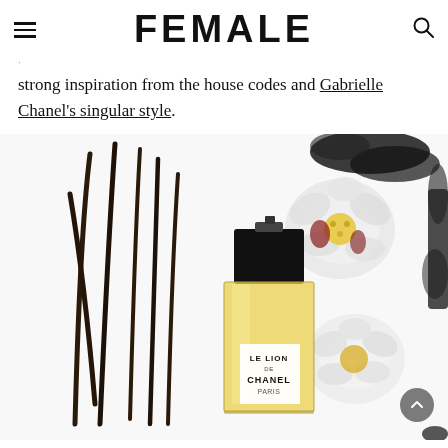FEMALE
strong inspiration from the house codes and Gabrielle Chanel's singular style.
[Figure (photo): Chanel 'Le Lion de Chanel Paris' perfume bottle surrounded by vanilla beans and white flowers on a white background with black ink splatter artistic elements.]